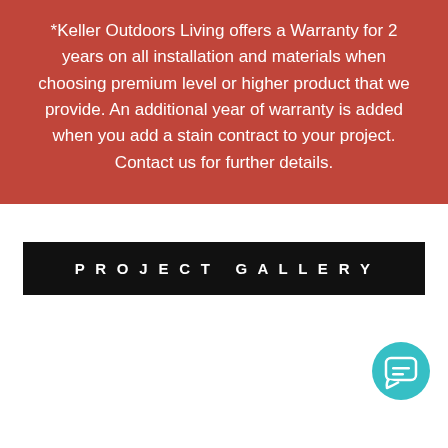*Keller Outdoors Living offers a Warranty for 2 years on all installation and materials when choosing premium level or higher product that we provide. An additional year of warranty is added when you add a stain contract to your project. Contact us for further details.
PROJECT GALLERY
[Figure (other): Teal chat bubble icon button in bottom right corner]